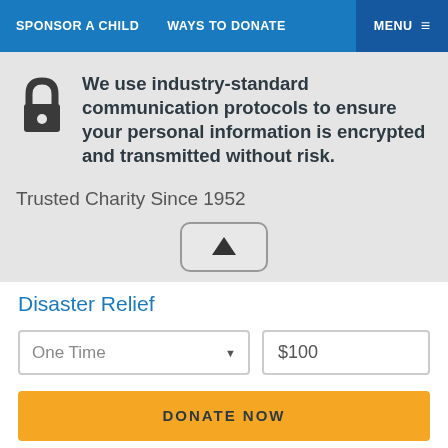SPONSOR A CHILD   WAYS TO DONATE   MENU
We use industry-standard communication protocols to ensure your personal information is encrypted and transmitted without risk.
Trusted Charity Since 1952
Disaster Relief
One Time   $100
DONATE NOW